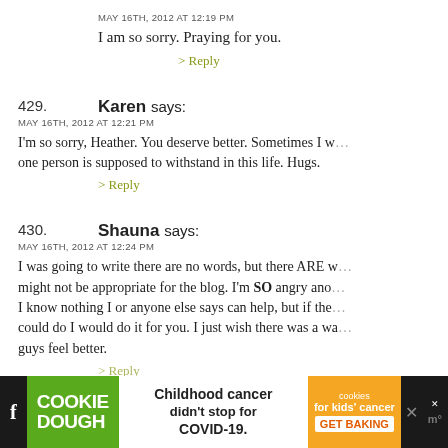MAY 16TH, 2012 AT 12:19 PM
I am so sorry. Praying for you.
> Reply
429. Karen says: MAY 16TH, 2012 AT 12:21 PM — I'm so sorry, Heather. You deserve better. Sometimes I w... one person is supposed to withstand in this life. Hugs.
> Reply
430. Shauna says: MAY 16TH, 2012 AT 12:24 PM — I was going to write there are no words, but there ARE w... might not be appropriate for the blog. I'm SO angry ano... I know nothing I or anyone else says can help, but if the... could do I would do it for you. I just wish there was a wa... guys feel better.
> Reply
[Figure (infographic): Advertisement banner: Cookie Dough brand ad with text 'Childhood cancer didn't stop for COVID-19.' and 'cookies for kids cancer GET BAKING']